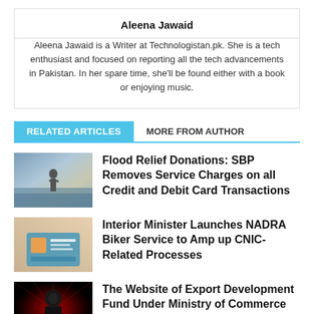Aleena Jawaid
Aleena Jawaid is a Writer at Technologistan.pk. She is a tech enthusiast and focused on reporting all the tech advancements in Pakistan. In her spare time, she'll be found either with a book or enjoying music.
RELATED ARTICLES
MORE FROM AUTHOR
Flood Relief Donations: SBP Removes Service Charges on all Credit and Debit Card Transactions
Interior Minister Launches NADRA Biker Service to Amp up CNIC-Related Processes
The Website of Export Development Fund Under Ministry of Commerce Suffers Data